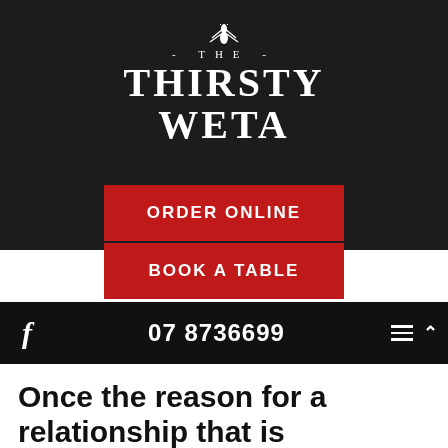[Figure (logo): The Thirsty Weta logo with insect illustration on dark background. Text reads: -THE- THIRSTY WETA]
ORDER ONLINE
BOOK A TABLE
f  07 8736699
Once the reason for a relationship that is soulless... Surprised No